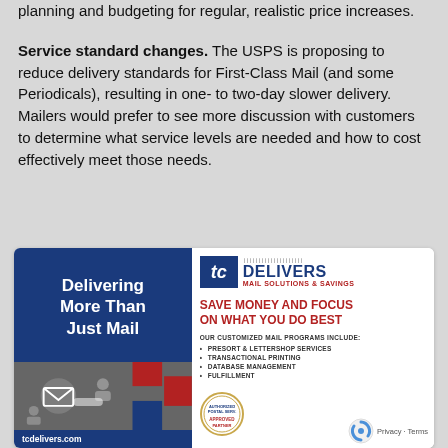planning and budgeting for regular, realistic price increases.
Service standard changes. The USPS is proposing to reduce delivery standards for First-Class Mail (and some Periodicals), resulting in one- to two-day slower delivery. Mailers would prefer to see more discussion with customers to determine what service levels are needed and how to cost effectively meet those needs.
[Figure (advertisement): TC Delivers advertisement: 'Delivering More Than Just Mail' on blue background left side, with TC Delivers logo and tagline 'Mail Solutions & Savings', headline 'SAVE MONEY AND FOCUS ON WHAT YOU DO BEST', listing customized mail programs including Presort & Lettershop Services, Transactional Printing, Database Management, Fulfillment. URL tcdelivers.com shown. USPS Approved Partner badge visible.]